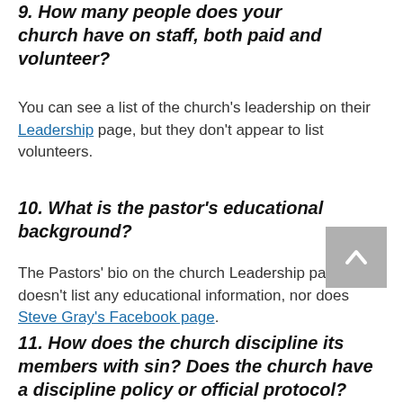9. How many people does your church have on staff, both paid and volunteer?
You can see a list of the church's leadership on their Leadership page, but they don't appear to list volunteers.
10. What is the pastor's educational background?
The Pastors' bio on the church Leadership page doesn't list any educational information, nor does Steve Gray's Facebook page.
11. How does the church discipline its members with sin? Does the church have a discipline policy or official protocol?